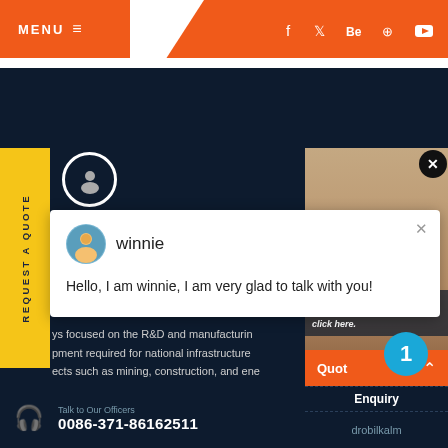[Figure (screenshot): Website header with orange MENU button on left, social media icons (f, twitter, Be, pinterest, youtube) on orange right section, white stripe below]
[Figure (screenshot): Yellow vertical REQUEST A QUOTE tab on left side of dark navy background]
[Figure (screenshot): Chat popup widget with avatar of winnie agent, close X button, greeting message]
winnie
Hello, I am winnie, I am very glad to talk with you!
ys focused on the R&D and manufacturin
pment required for national infrastructure
ects such as mining, construction, and ene
Have any n click here.
Quot
Talk to Our Officers
0086-371-86162511
Enquiry
drobilkalm